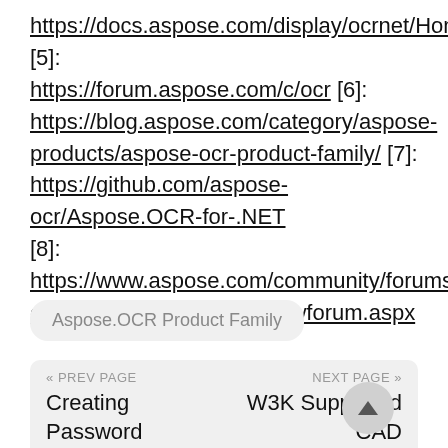https://docs.aspose.com/display/ocrnet/Home [5]: https://forum.aspose.com/c/ocr [6]: https://blog.aspose.com/category/aspose-products/aspose-ocr-product-family/ [7]: https://github.com/aspose-ocr/Aspose.OCR-for-.NET [8]: https://www.aspose.com/community/forums/aspose.ocr-product-family/493/showforum.aspx
Aspose.OCR Product Family
« PREV PAGE
Creating Password Protected Documents Supported with
NEXT PAGE »
W3K Supported CAD drawings and Office documents conversion